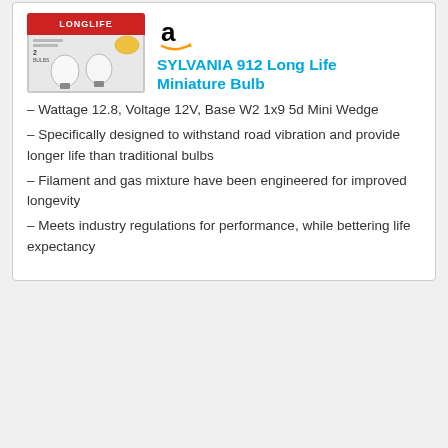[Figure (photo): Product photo of SYLVANIA 912 Long Life Miniature Bulb packaging showing two bulbs in a plastic blister pack with red and white branding reading LONGLIFE]
SYLVANIA 912 Long Life Miniature Bulb
– Wattage 12.8, Voltage 12V, Base W2 1x9 5d Mini Wedge
– Specifically designed to withstand road vibration and provide longer life than traditional bulbs
– Filament and gas mixture have been engineered for improved longevity
– Meets industry regulations for performance, while bettering life expectancy